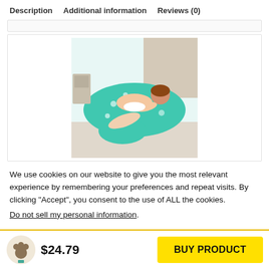Description   Additional information   Reviews (0)
[Figure (photo): Woman lying on a U-shaped pregnancy/body pillow with teal floral pattern on a light floor, shown in bedroom setting]
We use cookies on our website to give you the most relevant experience by remembering your preferences and repeat visits. By clicking “Accept”, you consent to the use of ALL the cookies.
Do not sell my personal information.
$24.79   BUY PRODUCT